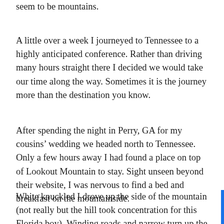seem to be mountains.
A little over a week I journeyed to Tennessee to a highly anticipated conference. Rather than driving many hours straight there I decided we would take our time along the way. Sometimes it is the journey more than the destination you know.
After spending the night in Perry, GA for my cousins' wedding we headed north to Tennessee. Only a few hours away I had found a place on top of Lookout Mountain to stay. Sight unseen beyond their website, I was nervous to find a bed and breakfast on the mountainside.
White knuckled I drove up the side of the mountain (not really but the hill took concentration for this Florida boy). Winding roads and narrow turn up the mountain we